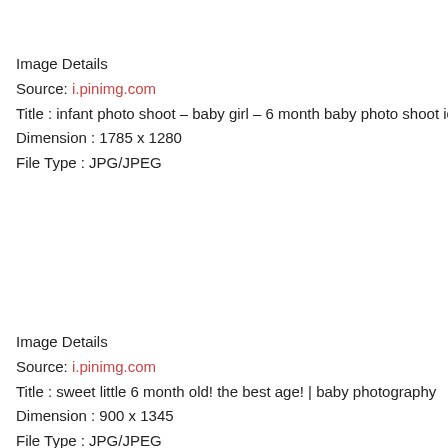Image Details
Source: i.pinimg.com
Title : infant photo shoot – baby girl – 6 month baby photo shoot ideas
Dimension : 1785 x 1280
File Type : JPG/JPEG
Image Details
Source: i.pinimg.com
Title : sweet little 6 month old! the best age! | baby photography
Dimension : 900 x 1345
File Type : JPG/JPEG